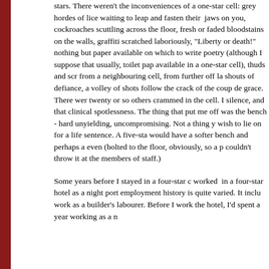stars. There weren't the inconveniences of a one-star cell: grey hordes of lice waiting to leap and fasten their jaws on you, cockroaches scuttling across the floor, fresh or faded bloodstains on the walls, graffiti scratched laboriously, "Liberty or death!" nothing but paper available on which to write poetry (although I suppose that usually, toilet paper available in a one-star cell), thuds and screams from a neighbouring cell, from further off laughs, shouts of defiance, a volley of shots followed by the crack of the coup de grace. There were twenty or so others crammed in the cell. In silence, and that clinical spotlessness. The thing that put me off was the bench - hard, unyielding, uncompromising. Not a thing you wish to lie on for a life sentence. A five-star would have a softer bench and perhaps a even (bolted to the floor, obviously, so a prisoner couldn't throw it at the members of staff.)
Some years before I stayed in a four-star cell, I worked in a four-star hotel as a night porter. My employment history is quite varied. It includes work as a builder's labourer. Before I worked at the hotel, I'd spent a year working as a n...